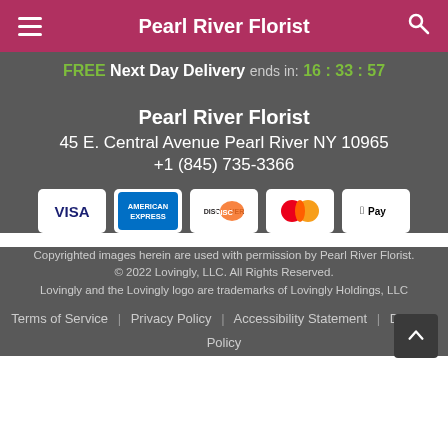Pearl River Florist
FREE Next Day Delivery ends in: 16 : 33 : 57
Pearl River Florist
45 E. Central Avenue Pearl River NY 10965
+1 (845) 735-3366
[Figure (logo): Payment method icons: VISA, American Express, Discover, Mastercard, Apple Pay]
Copyrighted images herein are used with permission by Pearl River Florist.
© 2022 Lovingly, LLC. All Rights Reserved.
Lovingly and the Lovingly logo are trademarks of Lovingly Holdings, LLC
Terms of Service | Privacy Policy | Accessibility Statement | Delivery Policy